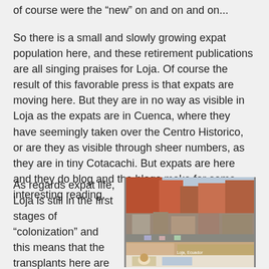of course were the “new” on and on and on...
So there is a small and slowly growing expat population here, and these retirement publications are all singing praises for Loja. Of course the result of this favorable press is that expats are moving here. But they are in no way as visible in Loja as the expats are in Cuenca, where they have seemingly taken over the Centro Historico, or are they as visible through sheer numbers, as they are in tiny Cotacachi. But expats are here and they do blog and the blogs make for some interesting reading.
As regards expat life, Loja is still in the first stages of “colonization” and this means that the transplants here are a hardy bunch, by
[Figure (photo): Aerial view of a Latin American city (Loja, Ecuador) showing rooftops, streets with cars, colorful buildings, a mural on a wall at the bottom, and surrounding urban landscape.]